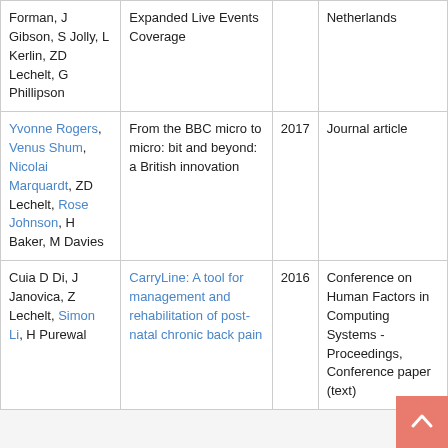| Authors | Title | Year | Type |
| --- | --- | --- | --- |
| Forman, J Gibson, S Jolly, L Kerlin, ZD Lechelt, G Phillipson | Expanded Live Events Coverage |  | Netherlands |
| Yvonne Rogers, Venus Shum, Nicolai Marquardt, ZD Lechelt, Rose Johnson, H Baker, M Davies | From the BBC micro to micro: bit and beyond: a British innovation | 2017 | Journal article |
| Cuia D Di, J Janovica, Z Lechelt, Simon Li, H Purewal | CarryLine: A tool for management and rehabilitation of post-natal chronic back pain | 2016 | Conference on Human Factors in Computing Systems - Proceedings, Conference paper (text) |